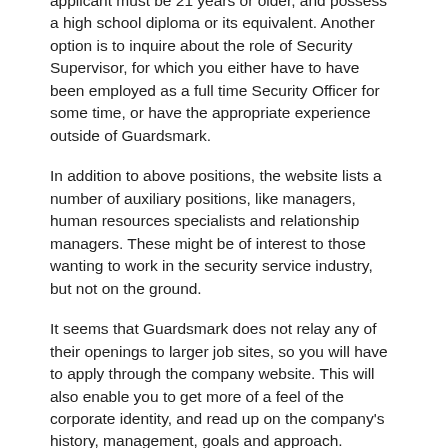applicant must be 21 years or older, and possess a high school diploma or its equivalent. Another option is to inquire about the role of Security Supervisor, for which you either have to have been employed as a full time Security Officer for some time, or have the appropriate experience outside of Guardsmark.
In addition to above positions, the website lists a number of auxiliary positions, like managers, human resources specialists and relationship managers. These might be of interest to those wanting to work in the security service industry, but not on the ground.
It seems that Guardsmark does not relay any of their openings to larger job sites, so you will have to apply through the company website. This will also enable you to get more of a feel of the corporate identity, and read up on the company's history, management, goals and approach.